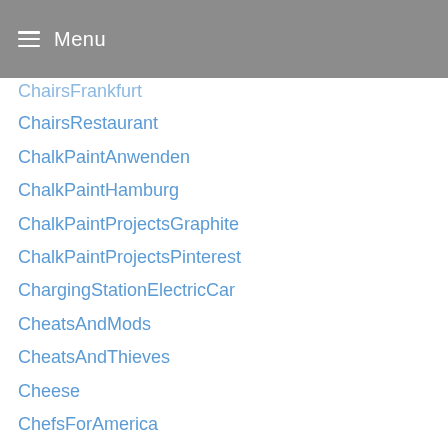Menu
ChairsFrankfurt
ChairsRestaurant
ChalkPaintAnwenden
ChalkPaintHamburg
ChalkPaintProjectsGraphite
ChalkPaintProjectsPinterest
ChargingStationElectricCar
CheatsAndMods
CheatsAndThieves
Cheese
ChefsForAmerica
chefsouschef
ChestOfWonders
ChestWidthMessen
ChevronOp
ChexMix
ChicagoTwistNadelspitzen